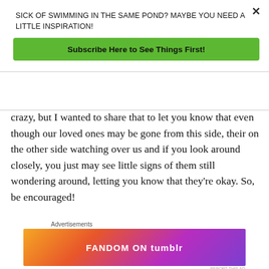SICK OF SWIMMING IN THE SAME POND? MAYBE YOU NEED A LITTLE INSPIRATION!
Subscribe Here to See Things First!
crazy, but I wanted to share that to let you know that even though our loved ones may be gone from this side, their on the other side watching over us and if you look around closely, you just may see little signs of them still wondering around, letting you know that they’re okay. So, be encouraged!
Advertisements
[Figure (other): FANDOM ON tumblr advertisement banner with colorful gradient background (orange, red, purple)]